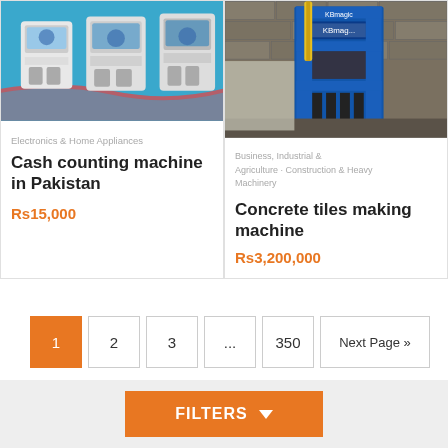[Figure (photo): Cash counting machines on blue background]
Electronics & Home Appliances
Cash counting machine in Pakistan
Rs15,000
[Figure (photo): Blue concrete block making machine (construction machinery)]
Business, Industrial & Agriculture · Construction & Heavy Machinery
Concrete tiles making machine
Rs3,200,000
1
2
3
...
350
Next Page »
FILTERS